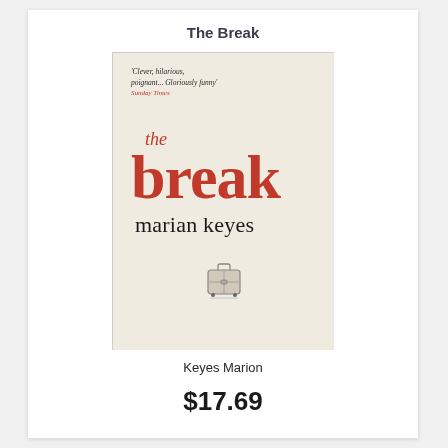The Break
[Figure (photo): Book cover of 'The Break' by Marian Keyes. Cream/beige background. Top has a quote in italic: 'Clever, hilarious, poignant... Gloriously funny' Sunday Times in red. Center shows large red serif text 'the break' and below it 'marian keyes' in dark serif. Bottom has an illustration of a small wheeled suitcase.]
Keyes Marion
$17.69